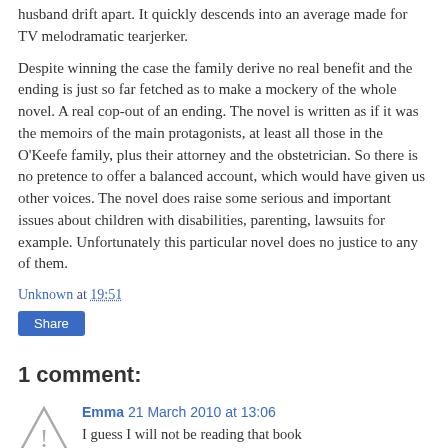husband drift apart. It quickly descends into an average made for TV melodramatic tearjerker.
Despite winning the case the family derive no real benefit and the ending is just so far fetched as to make a mockery of the whole novel. A real cop-out of an ending. The novel is written as if it was the memoirs of the main protagonists, at least all those in the O'Keefe family, plus their attorney and the obstetrician. So there is no pretence to offer a balanced account, which would have given us other voices. The novel does raise some serious and important issues about children with disabilities, parenting, lawsuits for example. Unfortunately this particular novel does no justice to any of them.
Unknown at 19:51
Share
1 comment:
Emma 21 March 2010 at 13:06
I guess I will not be reading that book
Reply